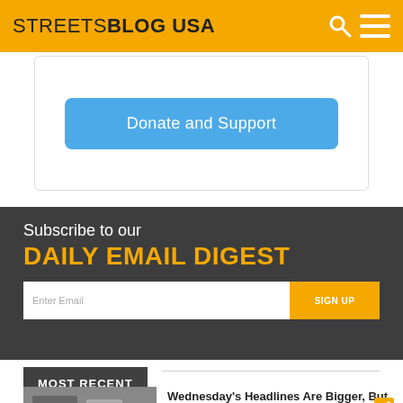STREETSBLOG USA
[Figure (other): Donate and Support button inside a rounded card]
Subscribe to our DAILY EMAIL DIGEST
Enter Email
SIGN UP
MOST RECENT
Wednesday's Headlines Are Bigger, But Not